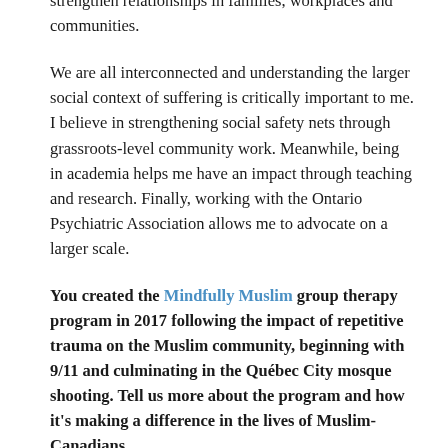heal. There is a beautiful ripple effect when one person is healed. Through that person, I might also help strengthen relationships in families, workplaces and communities.
We are all interconnected and understanding the larger social context of suffering is critically important to me. I believe in strengthening social safety nets through grassroots-level community work. Meanwhile, being in academia helps me have an impact through teaching and research. Finally, working with the Ontario Psychiatric Association allows me to advocate on a larger scale.
You created the Mindfully Muslim group therapy program in 2017 following the impact of repetitive trauma on the Muslim community, beginning with 9/11 and culminating in the Québec City mosque shooting. Tell us more about the program and how it's making a difference in the lives of Muslim-Canadians.
Mindfully Muslim is a faith-based, culturally safe, trauma-